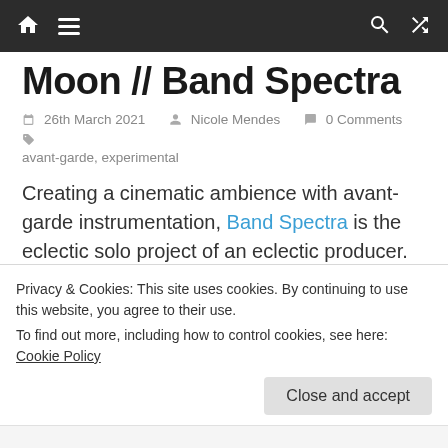Navigation bar with home, menu, search, and shuffle icons
Moon // Band Spectra
26th March 2021  Nicole Mendes  0 Comments  avant-garde, experimental
Creating a cinematic ambience with avant-garde instrumentation, Band Spectra is the eclectic solo project of an eclectic producer. Influenced by Covid-19 restrictions as any other artist, Robert (the man behind Band Spectra) decided to broaden his repertoire with 'Pillar & the Moon'. A collaboration
Privacy & Cookies: This site uses cookies. By continuing to use this website, you agree to their use.
To find out more, including how to control cookies, see here: Cookie Policy

Close and accept